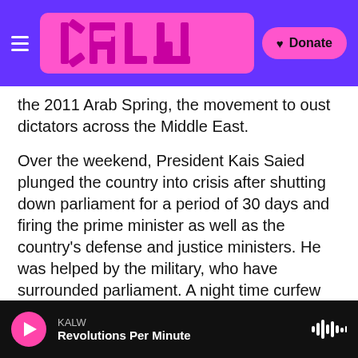KALW logo header with Donate button
the 2011 Arab Spring, the movement to oust dictators across the Middle East.
Over the weekend, President Kais Saied plunged the country into crisis after shutting down parliament for a period of 30 days and firing the prime minister as well as the country's defense and justice ministers. He was helped by the military, who have surrounded parliament. A night time curfew has been imposed and gatherings of more than three people are forbidden.
Saied, an independent who was elected in 2019,
KALW · Revolutions Per Minute